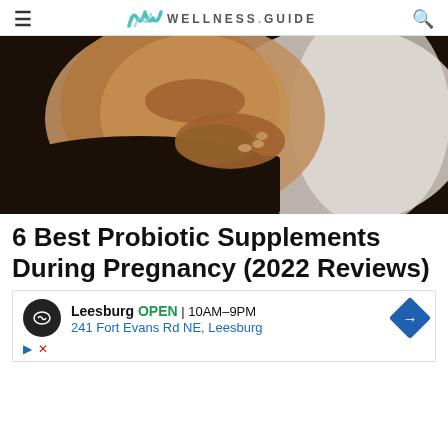≡  WELLNESS.GUIDE  🔍
[Figure (photo): Close-up photo of a pregnant woman's bare belly being held by her hands, wearing a dark outfit, light background]
6 Best Probiotic Supplements During Pregnancy (2022 Reviews)
[Figure (other): Advertisement block: Leesburg OPEN 10AM–9PM | 241 Fort Evans Rd NE, Leesburg with navigation arrow icon]